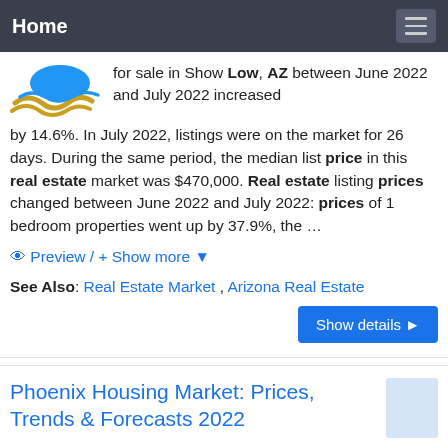Home
for sale in Show Low, AZ between June 2022 and July 2022 increased by 14.6%. In July 2022, listings were on the market for 26 days. During the same period, the median list price in this real estate market was $470,000. Real estate listing prices changed between June 2022 and July 2022: prices of 1 bedroom properties went up by 37.9%, the …
👁 Preview / + Show more ▼
See Also: Real Estate Market , Arizona Real Estate
Show details ▶
Phoenix Housing Market: Prices, Trends & Forecasts 2022